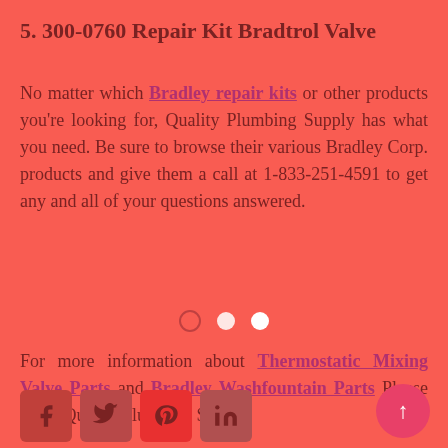5. 300-0760 Repair Kit Bradtrol Valve
No matter which Bradley repair kits or other products you're looking for, Quality Plumbing Supply has what you need. Be sure to browse their various Bradley Corp. products and give them a call at 1-833-251-4591 to get any and all of your questions answered.
For more information about Thermostatic Mixing Valve Parts and Bradley Washfountain Parts Please Visit: Quality Plumbing Supply